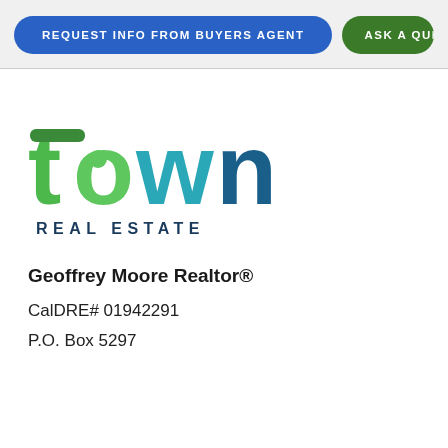REQUEST INFO FROM BUYERS AGENT | ASK A QUE...
[Figure (logo): Town Real Estate logo with colorful 'town' text in green, teal, and blue, and 'REAL ESTATE' in dark navy below]
Geoffrey Moore Realtor®
CalDRE# 01942291
P.O. Box 5297